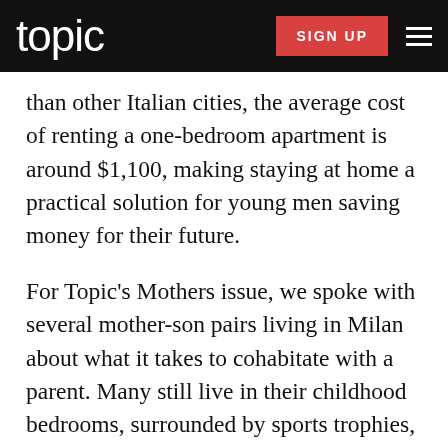topic | SIGN UP
than other Italian cities, the average cost of renting a one-bedroom apartment is around $1,100, making staying at home a practical solution for young men saving money for their future.
For Topic's Mothers issue, we spoke with several mother-son pairs living in Milan about what it takes to cohabitate with a parent. Many still live in their childhood bedrooms, surrounded by sports trophies, toys, and movie posters. They keep their mothers apprised of where they go each night, and they let them know if they are dating anyone. Some of these men are in their 20s and just starting out, others have part-time jobs, and a few in their mid-30s have ambitious and busy careers. They say they are happy